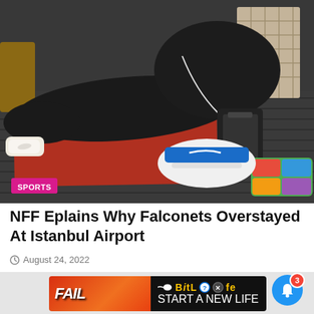[Figure (photo): People sleeping/lying on the floor of an airport with luggage and shoes scattered around. A red cloth is spread on the dark carpet floor. Nike sandals visible in the foreground. Bags and colorful sneakers on the right side.]
SPORTS
NFF Eplains Why Falconets Overstayed At Istanbul Airport
August 24, 2022
[Figure (other): BitLife advertisement banner: 'FAIL - START A NEW LIFE' with animated character and flame graphics on red/orange background with black panel showing BitLife logo in yellow.]